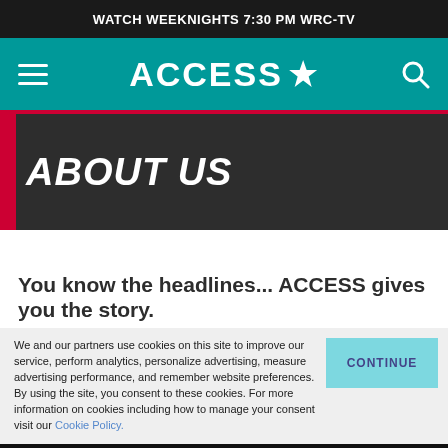WATCH WEEKNIGHTS 7:30 PM WRC-TV
[Figure (logo): ACCESS star logo with hamburger menu and search icon on teal navigation bar]
ABOUT US
You know the headlines... ACCESS gives you the story.
We and our partners use cookies on this site to improve our service, perform analytics, personalize advertising, measure advertising performance, and remember website preferences. By using the site, you consent to these cookies. For more information on cookies including how to manage your consent visit our Cookie Policy.